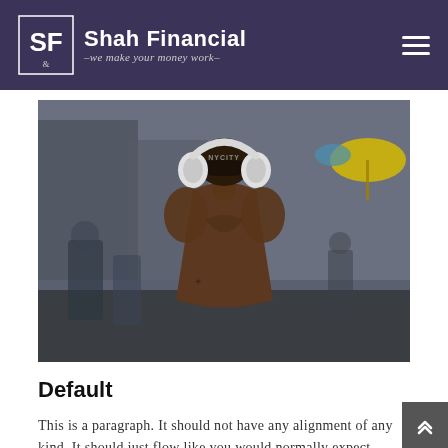Shah Financial –we make your money work–
[Figure (photo): Back view of a muscular shirtless man wearing a black cap and white Beats headphones, standing in a busy urban street scene with blurred pedestrians and a yellow umbrella in the background.]
Default
This is a paragraph. It should not have any alignment of any kind. It should just flow like you would normally expect. Nothing fancy. Just straight up text, free flowing with love. Completely